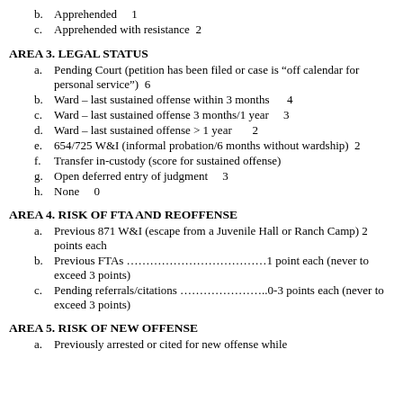b. Apprehended    1
c. Apprehended with resistance  2
AREA 3. LEGAL STATUS
a. Pending Court (petition has been filed or case is “off calendar for personal service”)  6
b. Ward – last sustained offense within 3 months    4
c. Ward – last sustained offense 3 months/1 year    3
d. Ward – last sustained offense > 1 year    2
e. 654/725 W&I (informal probation/6 months without wardship)  2
f. Transfer in-custody (score for sustained offense)
g. Open deferred entry of judgment    3
h. None    0
AREA 4. RISK OF FTA AND REOFFENSE
a. Previous 871 W&I (escape from a Juvenile Hall or Ranch Camp) 2 points each
b. Previous FTAs …………………………………1 point each (never to exceed 3 points)
c. Pending referrals/citations …………………..0-3 points each (never to exceed 3 points)
AREA 5. RISK OF NEW OFFENSE
a. Previously arrested or cited for new offense while